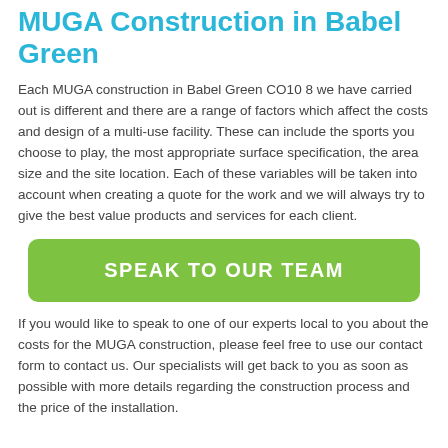MUGA Construction in Babel Green
Each MUGA construction in Babel Green CO10 8 we have carried out is different and there are a range of factors which affect the costs and design of a multi-use facility. These can include the sports you choose to play, the most appropriate surface specification, the area size and the site location. Each of these variables will be taken into account when creating a quote for the work and we will always try to give the best value products and services for each client.
[Figure (other): Green call-to-action button with text SPEAK TO OUR TEAM]
If you would like to speak to one of our experts local to you about the costs for the MUGA construction, please feel free to use our contact form to contact us. Our specialists will get back to you as soon as possible with more details regarding the construction process and the price of the installation.